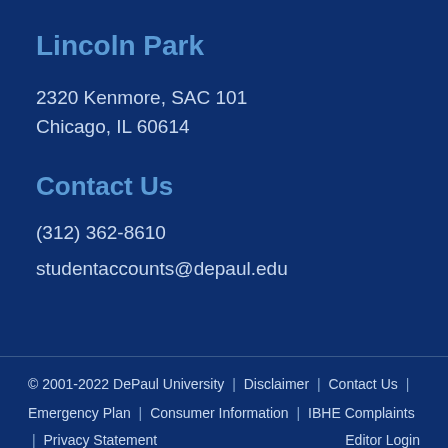Lincoln Park
2320 Kenmore, SAC 101
Chicago, IL 60614
Contact Us
(312) 362-8610
studentaccounts@depaul.edu
© 2001-2022 DePaul University  |  Disclaimer  |  Contact Us  |  Emergency Plan  |  Consumer Information  |  IBHE Complaints  |  Privacy Statement    Editor Login